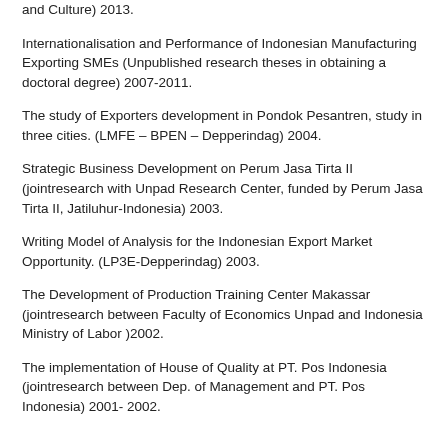and Culture) 2013.
Internationalisation and Performance of Indonesian Manufacturing Exporting SMEs (Unpublished research theses in obtaining a doctoral degree) 2007-2011.
The study of Exporters development in Pondok Pesantren, study in three cities. (LMFE – BPEN – Depperindag) 2004.
Strategic Business Development on Perum Jasa Tirta II (jointresearch with Unpad Research Center, funded by Perum Jasa Tirta II, Jatiluhur-Indonesia) 2003.
Writing Model of Analysis for the Indonesian Export Market Opportunity. (LP3E-Depperindag) 2003.
The Development of Production Training Center Makassar (jointresearch between Faculty of Economics Unpad and Indonesia Ministry of Labor )2002.
The implementation of House of Quality at PT. Pos Indonesia (jointresearch between Dep. of Management and PT. Pos Indonesia) 2001- 2002.